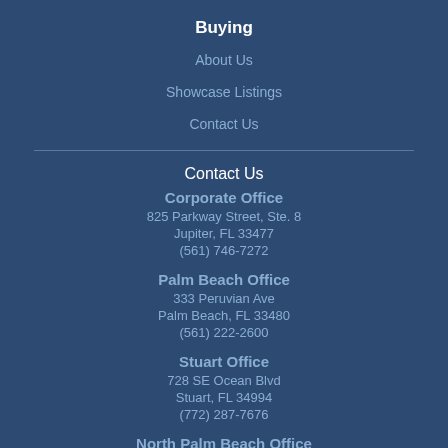Buying
About Us
Showcase Listings
Contact Us
Contact Us
Corporate Office
825 Parkway Street, Ste. 8
Jupiter, FL 33477
(561) 746-7272
Palm Beach Office
333 Peruvian Ave
Palm Beach, FL 33480
(561) 222-2600
Stuart Office
728 SE Ocean Blvd
Stuart, FL 34994
(772) 287-7676
North Palm Beach Office
11701 US Highway 1, Ste. C